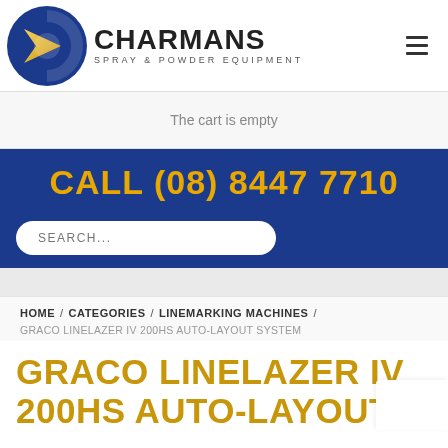[Figure (logo): Charmans Spray & Powder Equipment logo with blue circle and gold arrow on left, bold black CHARMANS text and subtitle on right]
The cart is empty
CALL (08) 8447 7710
SEARCH...
HOME / CATEGORIES / LINEMARKING MACHINES / GRACO LINELAZER IV 200HS AUTO-LAYOUT SYSTEM
GRACO LINELAZER IV 200HS AUTO-LAYOUT